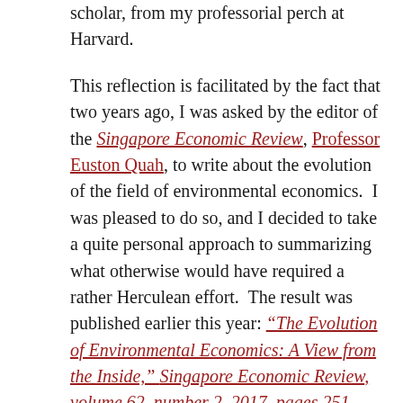scholar, from my professorial perch at Harvard.
This reflection is facilitated by the fact that two years ago, I was asked by the editor of the Singapore Economic Review, Professor Euston Quah, to write about the evolution of the field of environmental economics.  I was pleased to do so, and I decided to take a quite personal approach to summarizing what otherwise would have required a rather Herculean effort.  The result was published earlier this year: “The Evolution of Environmental Economics: A View from the Inside,” Singapore Economic Review, volume 62, number 2, 2017, pages 251-274.
[By coincidence, in just a few days, I am